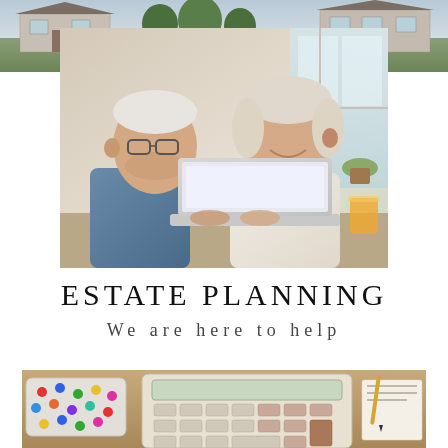[Figure (photo): Exterior view of a suburban house with trees and shrubs, muted winter tones, used as a background strip at the top of the page]
[Figure (photo): Elderly couple smiling and looking at a laptop computer together, sitting at a table with a glass of orange juice nearby, warm indoor light]
ESTATE PLANNING
We are here to help
[Figure (photo): Desktop scene with a calculator, colorful pushpins in a tray, and papers on a wooden table, partial view from below]